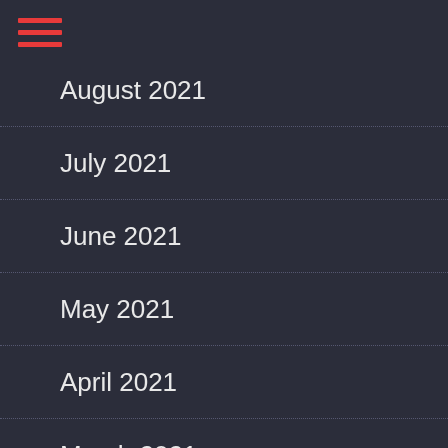[Figure (other): Hamburger menu icon with three red horizontal lines]
August 2021
July 2021
June 2021
May 2021
April 2021
March 2021
February 2021